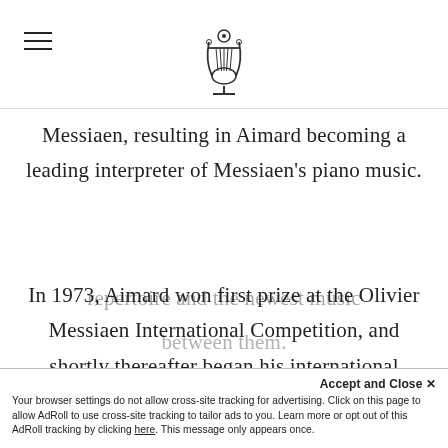[hamburger menu icon] [lyre logo]
Messiaen, resulting in Aimard becoming a leading interpreter of Messiaen's piano music.
In 1973, Aimard won first prize at the Olivier Messiaen International Competition, and shortly thereafter began his international concert career. His recitals were noted for their evenly balanced emphasis on traditional repertoire and the newest music between them.
Accept and Close ✕
Your browser settings do not allow cross-site tracking for advertising. Click on this page to allow AdRoll to use cross-site tracking to tailor ads to you. Learn more or opt out of this AdRoll tracking by clicking here. This message only appears once.